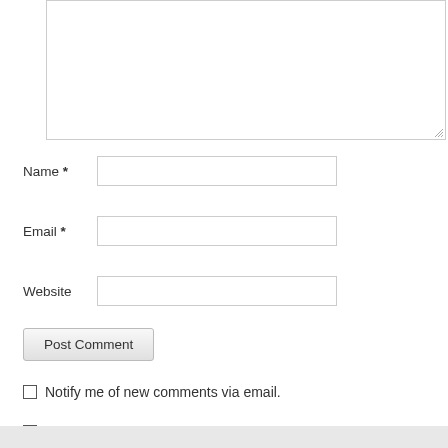[Figure (screenshot): A comment form textarea (empty, resizable) at the top of the page]
Name *
Email *
Website
Post Comment
Notify me of new comments via email.
Notify me of new posts via email.